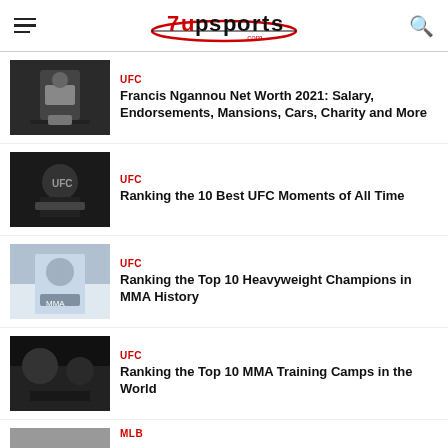7upsports.com
UFC — Francis Ngannou Net Worth 2021: Salary, Endorsements, Mansions, Cars, Charity and More
UFC — Ranking the 10 Best UFC Moments of All Time
UFC — Ranking the Top 10 Heavyweight Champions in MMA History
UFC — Ranking the Top 10 MMA Training Camps in the World
MLB — (partial, cut off)